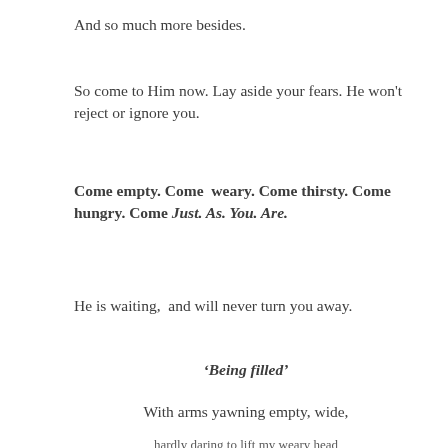And so much more besides.
So come to Him now. Lay aside your fears. He won't reject or ignore you.
Come empty. Come weary. Come thirsty. Come hungry. Come Just. As. You. Are.
He is waiting, and will never turn you away.
‘Being filled’
With arms yawning empty, wide,
I arrive at your feet
hardly daring to lift my weary head